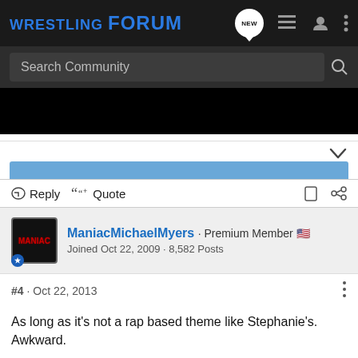WRESTLING FORUM
Search Community
Reply  Quote
ManiacMichaelMyers · Premium Member
Joined Oct 22, 2009 · 8,582 Posts
#4 · Oct 22, 2013
As long as it's not a rap based theme like Stephanie's. Awkward.